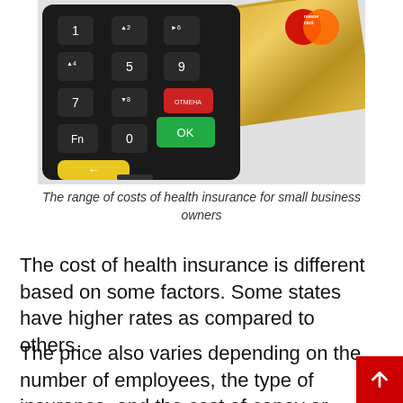[Figure (photo): A black PIN pad payment terminal with colorful keys (yellow, red, green) next to a gold MasterCard credit card on a white background.]
The range of costs of health insurance for small business owners
The cost of health insurance is different based on some factors. Some states have higher rates as compared to others.
The price also varies depending on the number of employees, the type of insurance, and the cost of copay or deductibles. To find out the exact cost, it would be best to check with your provider.